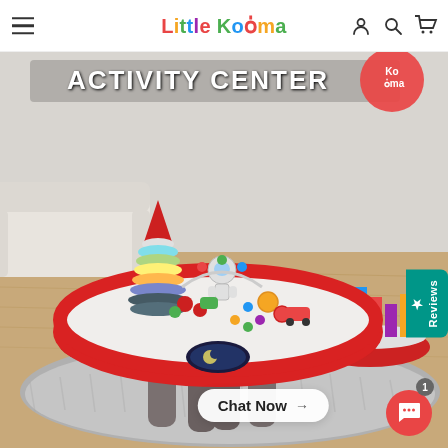Little Kooma – navigation bar with hamburger menu, logo, and icons
[Figure (photo): Product photo of 'Activity Center' baby/toddler activity table toy with red oval top surface, colorful stackable rings/rocket tower, many interactive elements, grey legs, sitting on a grey shaggy rug. Text overlay: ACTIVITY CENTER. Kooma brand badge top right. Background shows a cozy room. A second smaller red toy table visible behind.]
Reviews
Chat Now
1